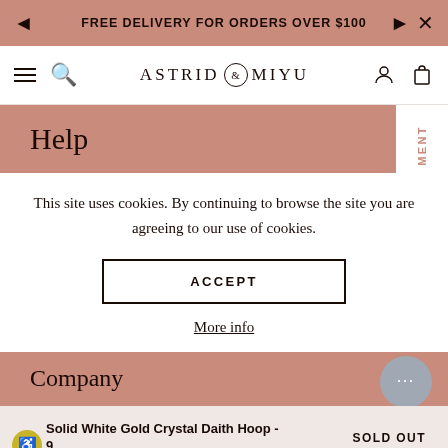FREE DELIVERY FOR ORDERS OVER $100
[Figure (logo): ASTRID & MIYU logo with ampersand in circle]
Help
This site uses cookies. By continuing to browse the site you are agreeing to our use of cookies.
ACCEPT
More info
Company
Solid White Gold Crystal Daith Hoop - 9
SOLD OUT